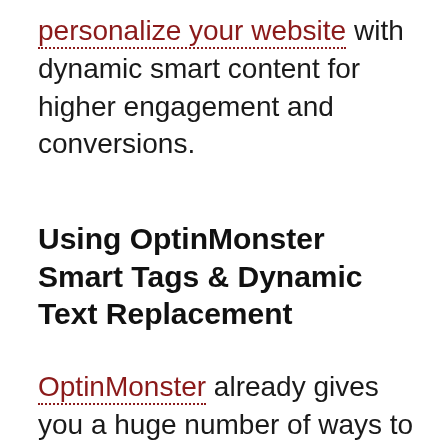personalize your website with dynamic smart content for higher engagement and conversions.
Using OptinMonster Smart Tags & Dynamic Text Replacement
OptinMonster already gives you a huge number of ways to collect leads from your website